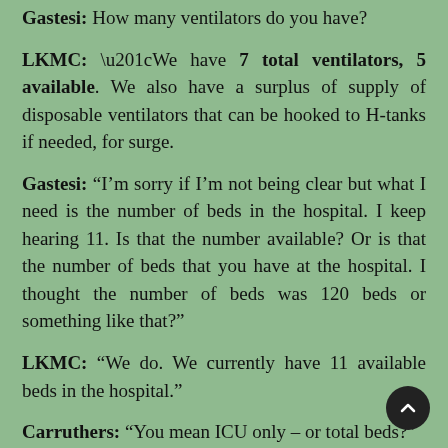Gastesi: How many ventilators do you have?
LKMC: “We have 7 total ventilators, 5 available. We also have a surplus of supply of disposable ventilators that can be hooked to H-tanks if needed, for surge.
Gastesi: “I’m sorry if I’m not being clear but what I need is the number of beds in the hospital. I keep hearing 11. Is that the number available? Or is that the number of beds that you have at the hospital. I thought the number of beds was 120 beds or something like that?”
LKMC: “We do. We currently have 11 available beds in the hospital.”
Carruthers: “You mean ICU only – or total beds?”
LKMC: “Total beds right now are 11 available; 5 of